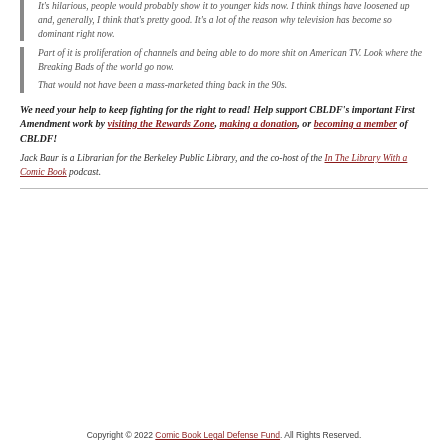It's hilarious, people would probably show it to younger kids now. I think things have loosened up and, generally, I think that's pretty good. It's a lot of the reason why television has become so dominant right now.
Part of it is proliferation of channels and being able to do more shit on American TV. Look where the Breaking Bads of the world go now.
That would not have been a mass-marketed thing back in the 90s.
We need your help to keep fighting for the right to read! Help support CBLDF's important First Amendment work by visiting the Rewards Zone, making a donation, or becoming a member of CBLDF!
Jack Baur is a Librarian for the Berkeley Public Library, and the co-host of the In The Library With a Comic Book podcast.
Copyright © 2022 Comic Book Legal Defense Fund. All Rights Reserved.